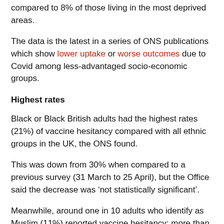compared to 8% of those living in the most deprived areas.
The data is the latest in a series of ONS publications which show lower uptake or worse outcomes due to Covid among less-advantaged socio-economic groups.
Highest rates
Black or Black British adults had the highest rates (21%) of vaccine hesitancy compared with all ethnic groups in the UK, the ONS found.
This was down from 30% when compared to a previous survey (31 March to 25 April), but the Office said the decrease was ‘not statistically significant’.
Meanwhile, around one in 10 adults who identify as Muslim (11%) reported vaccine hesitancy: more than twice that of people who identify as Christian (5%) and five times higher than those who identify as Hindu (2%).